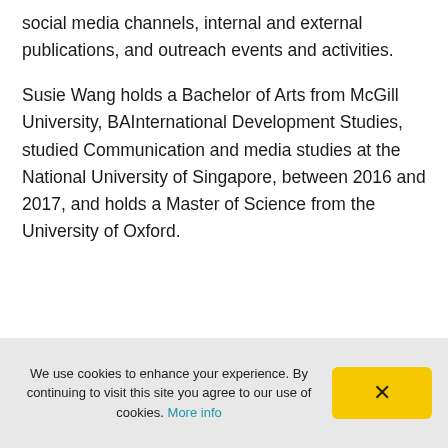social media channels, internal and external publications, and outreach events and activities.
Susie Wang holds a Bachelor of Arts from McGill University, BAInternational Development Studies, studied Communication and media studies at the National University of Singapore, between 2016 and 2017, and holds a Master of Science from the University of Oxford.
We use cookies to enhance your experience. By continuing to visit this site you agree to our use of cookies. More info